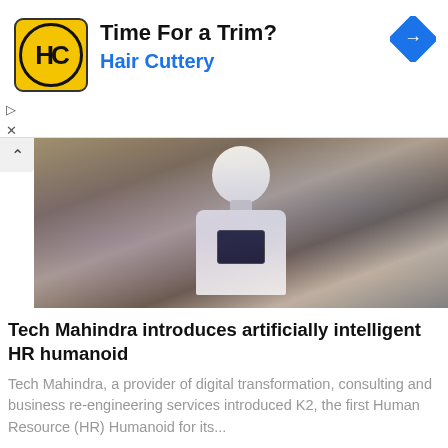[Figure (screenshot): Hair Cuttery advertisement banner with yellow HC logo, bold text 'Time For a Trim?' and blue 'Hair Cuttery' subtitle, navigation arrow icon top right, small ad controls on left]
[Figure (photo): Photo of a humanoid robot (K2) introduced by Tech Mahindra as an HR humanoid, upper body visible with white casing and a small screen on chest]
Tech Mahindra introduces artificially intelligent HR humanoid
Tech Mahindra, a provider of digital transformation, consulting and business re-engineering services introduced K2, the first Human Resource (HR) Humanoid for its...
[Figure (screenshot): Partial view of a collage or map-like grid with tilted rectangular cards outlined in teal/pink on a light grey background]